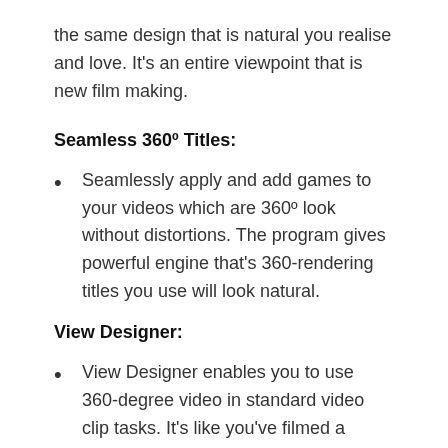the same design that is natural you realise and love. It's an entire viewpoint that is new film making.
Seamless 360º Titles:
Seamlessly apply and add games to your videos which are 360º look without distortions. The program gives powerful engine that's 360-rendering titles you use will look natural.
View Designer:
View Designer enables you to use 360-degree video in standard video clip tasks. It's like you've filmed a scene with numerous cameras from